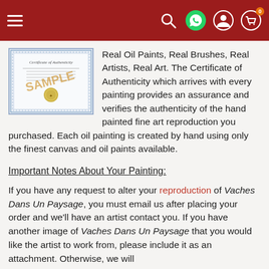Navigation bar with hamburger menu, search, WhatsApp, account, and cart icons
[Figure (illustration): Certificate of Authenticity sample document with decorative border and gold seal, watermarked SAMPLE in orange]
Real Oil Paints, Real Brushes, Real Artists, Real Art. The Certificate of Authenticity which arrives with every painting provides an assurance and verifies the authenticity of the hand painted fine art reproduction you purchased. Each oil painting is created by hand using only the finest canvas and oil paints available.
Important Notes About Your Painting:
If you have any request to alter your reproduction of Vaches Dans Un Paysage, you must email us after placing your order and we'll have an artist contact you. If you have another image of Vaches Dans Un Paysage that you would like the artist to work from, please include it as an attachment. Otherwise, we will